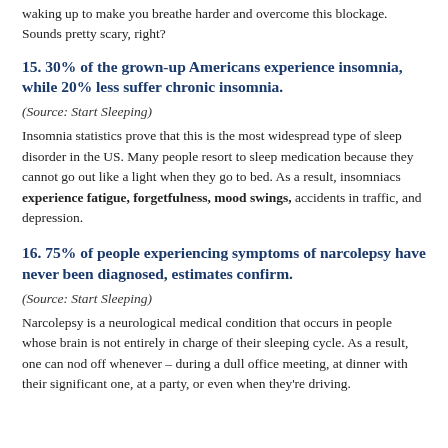waking up to make you breathe harder and overcome this blockage. Sounds pretty scary, right?
15. 30% of the grown-up Americans experience insomnia, while 20% less suffer chronic insomnia.
(Source: Start Sleeping)
Insomnia statistics prove that this is the most widespread type of sleep disorder in the US. Many people resort to sleep medication because they cannot go out like a light when they go to bed. As a result, insomniacs experience fatigue, forgetfulness, mood swings, accidents in traffic, and depression.
16. 75% of people experiencing symptoms of narcolepsy have never been diagnosed, estimates confirm.
(Source: Start Sleeping)
Narcolepsy is a neurological medical condition that occurs in people whose brain is not entirely in charge of their sleeping cycle. As a result, one can nod off whenever – during a dull office meeting, at dinner with their significant one, at a party, or even when they're driving.